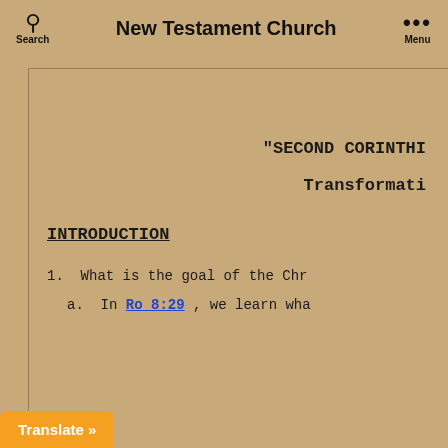New Testament Church
"SECOND CORINTHI
Transformati
INTRODUCTION
1.  What is the goal of the Chr
a.  In Ro 8:29 , we learn wha